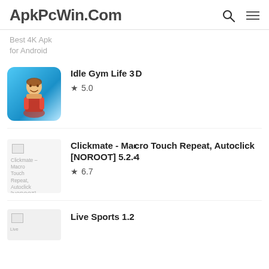ApkPcWin.Com
Best 4K Apk for Android
Idle Gym Life 3D ★ 5.0
Clickmate - Macro Touch Repeat, Autoclick [NOROOT] 5.2.4 ★ 6.7
Live Sports 1.2